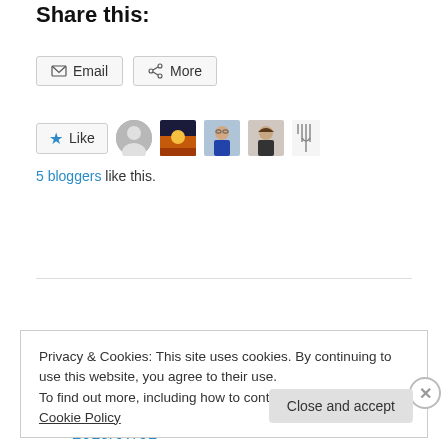Share this:
Email  More
[Figure (screenshot): Like button and 5 blogger avatar thumbnails]
5 bloggers like this.
2019/07/01
Adventures with People, Flying & Happiness
Privacy & Cookies: This site uses cookies. By continuing to use this website, you agree to their use.
To find out more, including how to control cookies, see here: Cookie Policy
Close and accept